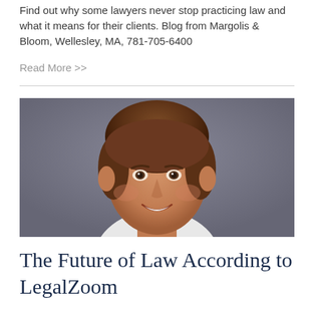Find out why some lawyers never stop practicing law and what it means for their clients. Blog from Margolis & Bloom, Wellesley, MA, 781-705-6400
Read More >>
[Figure (photo): Headshot of a smiling middle-aged man with brown hair, wearing a white shirt, against a grey background.]
The Future of Law According to LegalZoom